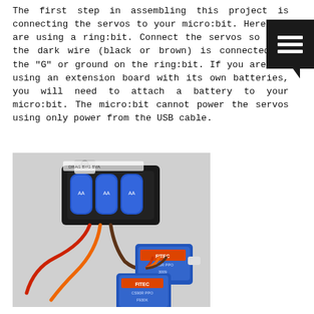The first step in assembling this project is connecting the servos to your micro:bit. Here, we are using a ring:bit. Connect the servos so that the dark wire (black or brown) is connected to the "G" or ground on the ring:bit. If you are not using an extension board with its own batteries, you will need to attach a battery to your micro:bit. The micro:bit cannot power the servos using only power from the USB cable.
[Figure (photo): Photo of a battery pack with AA batteries, wired servo motors (blue FITEC brand servos) with orange, red, and brown/black wires on a white background.]